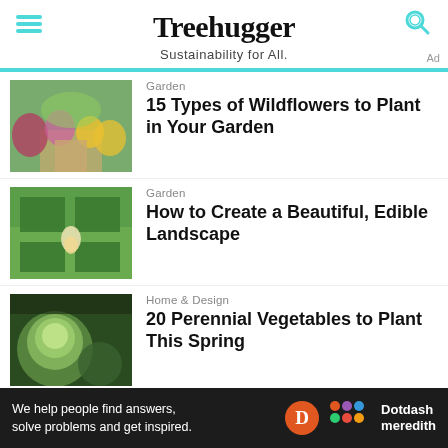Treehugger — Sustainability for All.
[Figure (photo): Wildflower garden with colorful flowers along a brick path]
Garden
15 Types of Wildflowers to Plant in Your Garden
[Figure (photo): Aerial view of a person gardening in raised vegetable beds]
Garden
How to Create a Beautiful, Edible Landscape
[Figure (photo): Artichoke or cabbage plant in a garden]
Home & Design
20 Perennial Vegetables to Plant This Spring
We help people find answers, solve problems and get inspired.
Dotdash meredith